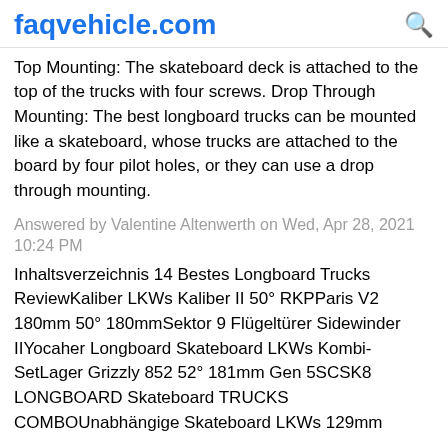faqvehicle.com
Top Mounting: The skateboard deck is attached to the top of the trucks with four screws. Drop Through Mounting: The best longboard trucks can be mounted like a skateboard, whose trucks are attached to the board by four pilot holes, or they can use a drop through mounting.
Answered by Valentine Altenwerth on Wed, Apr 28, 2021 10:24 PM
Inhaltsverzeichnis 14 Bestes Longboard Trucks ReviewKaliber LKWs Kaliber II 50° RKPParis V2 180mm 50° 180mmSektor 9 Flügeltürer Sidewinder IIYocaher Longboard Skateboard LKWs Kombi-SetLager Grizzly 852 52° 181mm Gen 5SCSK8 LONGBOARD Skateboard TRUCKS COMBOUnabhängige Skateboard LKWs 129mm